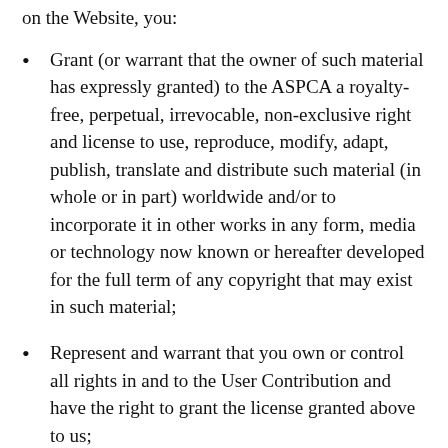on the Website, you:
Grant (or warrant that the owner of such material has expressly granted) to the ASPCA a royalty-free, perpetual, irrevocable, non-exclusive right and license to use, reproduce, modify, adapt, publish, translate and distribute such material (in whole or in part) worldwide and/or to incorporate it in other works in any form, media or technology now known or hereafter developed for the full term of any copyright that may exist in such material;
Represent and warrant that you own or control all rights in and to the User Contribution and have the right to grant the license granted above to us;